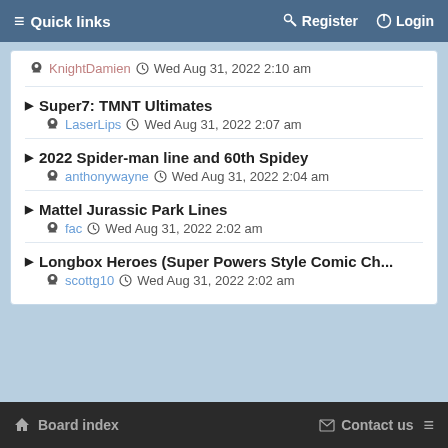≡ Quick links   🔑 Register   ⏻ Login
KnightDamien ⊙ Wed Aug 31, 2022 2:10 am
▶ Super7: TMNT Ultimates — LaserLips ⊙ Wed Aug 31, 2022 2:07 am
▶ 2022 Spider-man line and 60th Spidey — anthonywayne ⊙ Wed Aug 31, 2022 2:04 am
▶ Mattel Jurassic Park Lines — fac ⊙ Wed Aug 31, 2022 2:02 am
▶ Longbox Heroes (Super Powers Style Comic Ch... — scottg10 ⊙ Wed Aug 31, 2022 2:02 am
⌂ Board index   ✉ Contact us  ≡